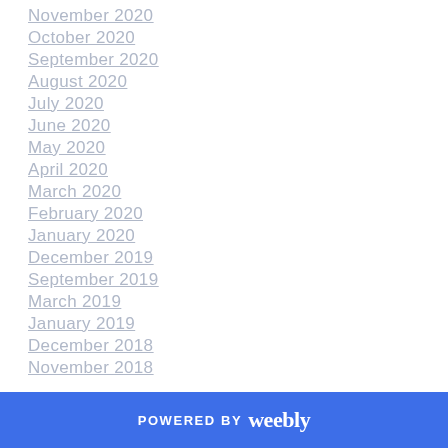November 2020
October 2020
September 2020
August 2020
July 2020
June 2020
May 2020
April 2020
March 2020
February 2020
January 2020
December 2019
September 2019
March 2019
January 2019
December 2018
November 2018
POWERED BY weebly